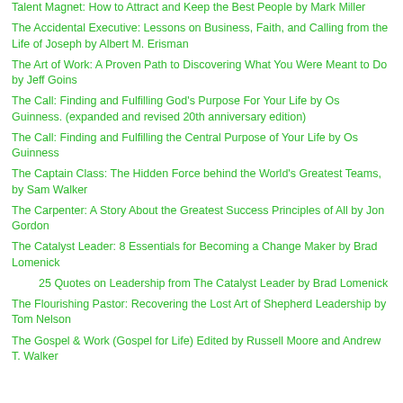Talent Magnet: How to Attract and Keep the Best People by Mark Miller
The Accidental Executive: Lessons on Business, Faith, and Calling from the Life of Joseph by Albert M. Erisman
The Art of Work: A Proven Path to Discovering What You Were Meant to Do by Jeff Goins
The Call: Finding and Fulfilling God's Purpose For Your Life by Os Guinness. (expanded and revised 20th anniversary edition)
The Call: Finding and Fulfilling the Central Purpose of Your Life by Os Guinness
The Captain Class: The Hidden Force behind the World's Greatest Teams, by Sam Walker
The Carpenter: A Story About the Greatest Success Principles of All by Jon Gordon
The Catalyst Leader: 8 Essentials for Becoming a Change Maker by Brad Lomenick
25 Quotes on Leadership from The Catalyst Leader by Brad Lomenick
The Flourishing Pastor: Recovering the Lost Art of Shepherd Leadership by Tom Nelson
The Gospel & Work (Gospel for Life) Edited by Russell Moore and Andrew T. Walker